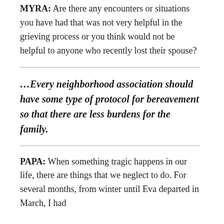MYRA:  Are there any encounters or situations you have had that was not very helpful in the grieving process or you think would not be helpful to anyone who recently lost their spouse?
…Every neighborhood association should have some type of protocol for bereavement so that there are less burdens for the family.
PAPA:  When something tragic happens in our life, there are things that we neglect to do.  For several months, from winter until Eva departed in March, I had